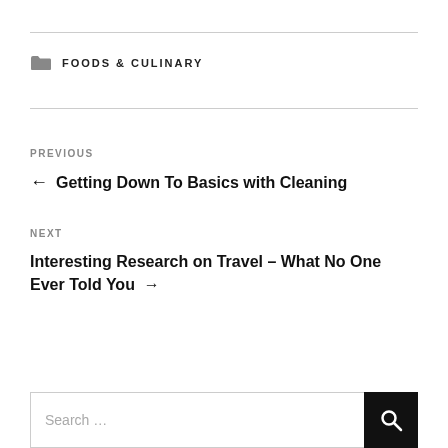FOODS & CULINARY
PREVIOUS
← Getting Down To Basics with Cleaning
NEXT
Interesting Research on Travel – What No One Ever Told You →
Search …